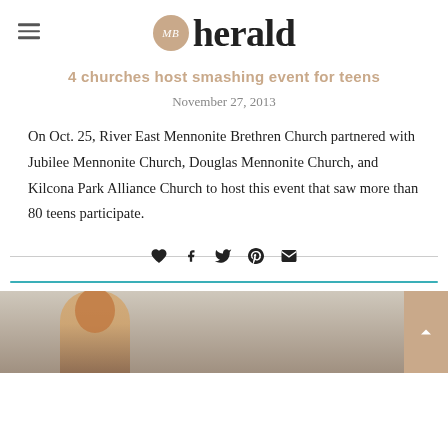MB herald
4 churches host smashing event for teens
November 27, 2013
On Oct. 25, River East Mennonite Brethren Church partnered with Jubilee Mennonite Church, Douglas Mennonite Church, and Kilcona Park Alliance Church to host this event that saw more than 80 teens participate.
[Figure (other): Social sharing icons: heart/like, Facebook, Twitter, Pinterest, email]
[Figure (photo): Bottom portion of page showing a person with curly hair, partially visible, photograph cut off at page edge]